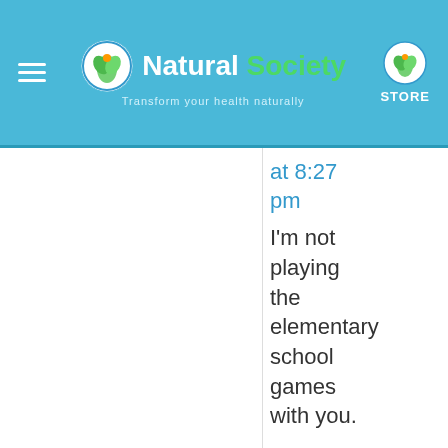Natural Society — Transform your health naturally — STORE
at 8:27 pm
I'm not playing the elementary school games with you.
3. GMO Roberts says: September 17, 2015